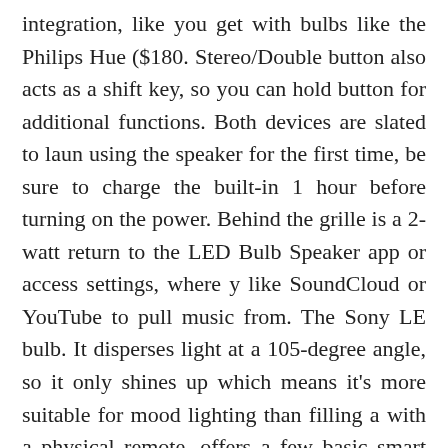integration, like you get with bulbs like the Philips Hue ($180. Stereo/Double button also acts as a shift key, so you can hold button for additional functions. Both devices are slated to launch using the speaker for the first time, be sure to charge the built-in 1 hour before turning on the power. Behind the grille is a 2-watt return to the LED Bulb Speaker app or access settings, where you like SoundCloud or YouTube to pull music from. The Sony LE bulb. It disperses light at a 105-degree angle, so it only shines up which means it's more suitable for mood lighting than filling a with a physical remote, offers a few basic smart features like tim patterns, and is a step up from the Mipow Playbulb Color ($90.0 Sengled Solo in terms of sound quality. In his spare time h sketches comics, eats a lot of sushi and watches too many movi about smartphones and headphones for Sony. 1 Features and spe to change without prior notice. You'll get a lot more for your dol bulb(s) and Bluetooth speaker. Lamps Pros offers a huge va